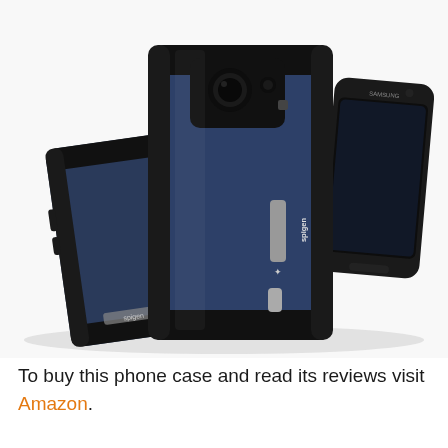[Figure (photo): Product photo showing a Spigen phone case on a Samsung Galaxy S7. Three phones/cases shown: one propped up on its kickstand at left, one front-facing showing the case from the back in the center, and one showing the bare front of the phone at right. The cases are dark navy/metal blue with black bumpers and a silver Spigen logo badge. The kickstand is extended on the left case.]
To buy this phone case and read its reviews visit Amazon.